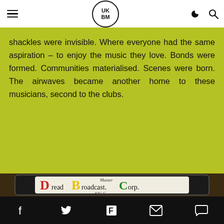UKBM (logo with hamburger menu, moon icon, search icon)
shackles were invisible. Where everyone had the same aspiration – to enjoy the music they love. Bonds were formed. Communities materialised. Scenes were born. The airwaves became another home to these musicians, second to the clubs.
[Figure (photo): Photo of a cassette tape label reading 'Dread Master Broadcast Corp. SIC C' with colourful lettering on a worn label inside a plastic case, on a wooden surface.]
Social share bar with Facebook, Twitter, Flipboard, Email, and Comment icons